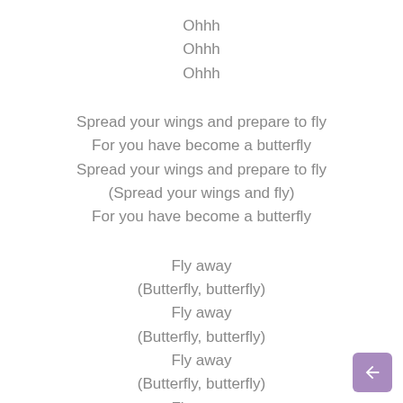Ohhh
Ohhh
Ohhh
Spread your wings and prepare to fly
For you have become a butterfly
Spread your wings and prepare to fly
(Spread your wings and fly)
For you have become a butterfly
Fly away
(Butterfly, butterfly)
Fly away
(Butterfly, butterfly)
Fly away
(Butterfly, butterfly)
Fly away
(Butterfly, butterfly)
Fly away